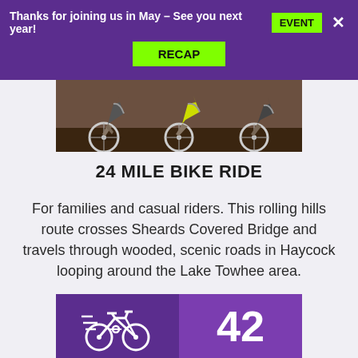Thanks for joining us in May – See you next year! EVENT [×] RECAP
[Figure (photo): Photo of cyclists riding bikes, showing legs and lower half of bicycles on a road surface]
24 MILE BIKE RIDE
For families and casual riders. This rolling hills route crosses Sheards Covered Bridge and travels through wooded, scenic roads in Haycock looping around the Lake Towhee area.
[Figure (infographic): Two purple boxes side by side: left box shows a bicycle icon, right box shows the number 42]